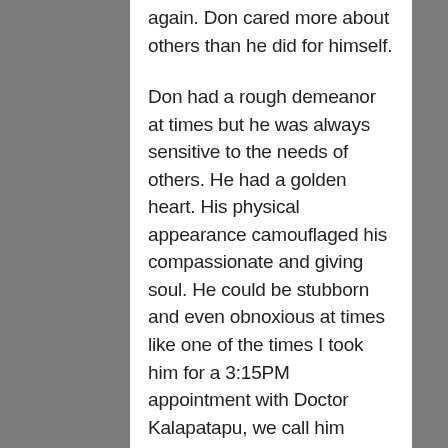again. Don cared more about others than he did for himself.

Don had a rough demeanor at times but he was always sensitive to the needs of others. He had a golden heart. His physical appearance camouflaged his compassionate and giving soul. He could be stubborn and even obnoxious at times like one of the times I took him for a 3:15PM appointment with Doctor Kalapatapu, we call him Doctor K. When 3:20 rolled around